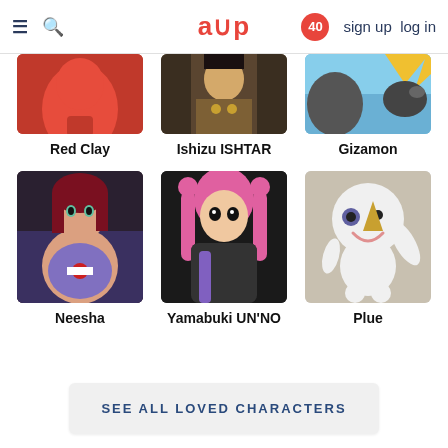aup   40   sign up   log in
[Figure (photo): Partial image of Red Clay anime character (red figure, cropped at top)]
Red Clay
[Figure (photo): Partial image of Ishizu ISHTAR anime character (dark background with gold accessories, cropped at top)]
Ishizu ISHTAR
[Figure (photo): Partial image of Gizamon anime character (blue sky background, cropped at top)]
Gizamon
[Figure (photo): Full image of Neesha anime character (girl with red-brown hair, teal eyes, wearing blue outfit with Pokéball necklace)]
Neesha
[Figure (photo): Full image of Yamabuki UN'NO anime character (girl with pink twin-tail hair, wearing black combat suit)]
Yamabuki UN'NO
[Figure (photo): Full image of Plue anime character (white round snowman-like character with horn nose, waving)]
Plue
SEE ALL LOVED CHARACTERS